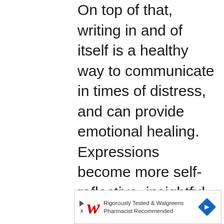On top of that, writing in and of itself is a healthy way to communicate in times of distress, and can provide emotional healing. Expressions become more self-reflective, insightful and thoughtful when written out in this way. Because everything is written down, the therapist is able to read through all of the conversations to make
[Figure (infographic): Walgreens advertisement banner: 'Rigorously Tested & Walgreens Pharmacist Recommended' with Walgreens cursive W logo and blue diamond arrow icon]